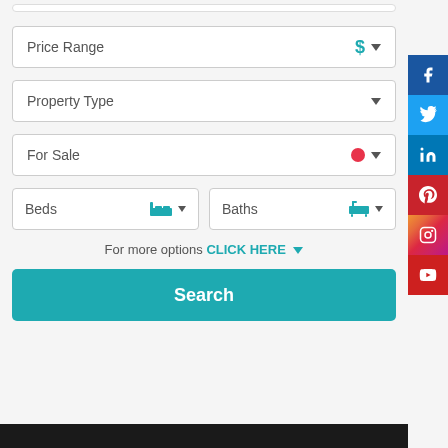[Figure (screenshot): Real estate property search form with dropdowns for Price Range, Property Type, For Sale, Beds, Baths, a 'For more options CLICK HERE' link, and a Search button. Social media sidebar icons on the right (Facebook, Twitter, LinkedIn, Pinterest, Instagram, YouTube).]